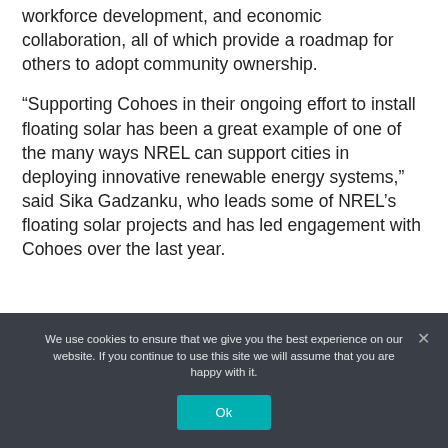workforce development, and economic collaboration, all of which provide a roadmap for others to adopt community ownership.
“Supporting Cohoes in their ongoing effort to install floating solar has been a great example of one of the many ways NREL can support cities in deploying innovative renewable energy systems,” said Sika Gadzanku, who leads some of NREL’s floating solar projects and has led engagement with Cohoes over the last year.
We use cookies to ensure that we give you the best experience on our website. If you continue to use this site we will assume that you are happy with it.